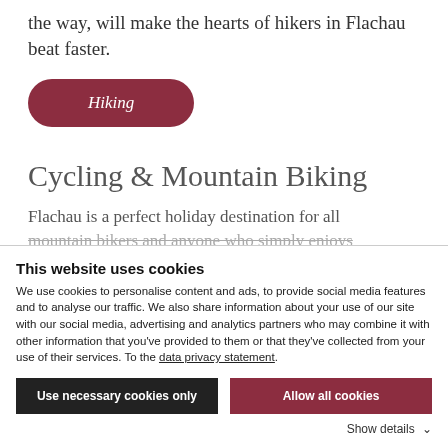the way, will make the hearts of hikers in Flachau beat faster.
Hiking
Cycling & Mountain Biking
Flachau is a perfect holiday destination for all mountain bikers and anyone who simply enjoys
This website uses cookies
We use cookies to personalise content and ads, to provide social media features and to analyse our traffic. We also share information about your use of our site with our social media, advertising and analytics partners who may combine it with other information that you've provided to them or that they've collected from your use of their services. To the data privacy statement.
Use necessary cookies only
Allow all cookies
Show details